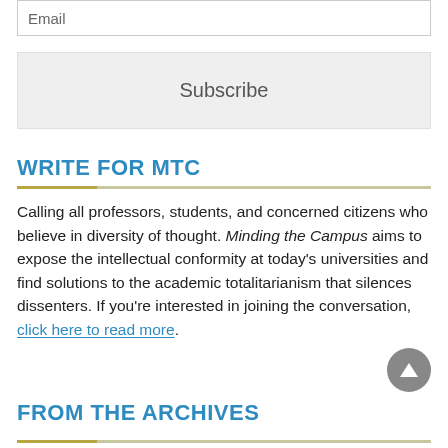Email
Subscribe
WRITE FOR MTC
Calling all professors, students, and concerned citizens who believe in diversity of thought. Minding the Campus aims to expose the intellectual conformity at today's universities and find solutions to the academic totalitarianism that silences dissenters. If you're interested in joining the conversation, click here to read more.
FROM THE ARCHIVES